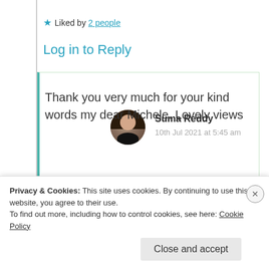★ Liked by 2 people
Log in to Reply
Suma Reddy
10th Jul 2021 at 5:45 am
Thank you very much for your kind words my dear Michele. Lovely views
Privacy & Cookies: This site uses cookies. By continuing to use this website, you agree to their use.
To find out more, including how to control cookies, see here: Cookie Policy
Close and accept